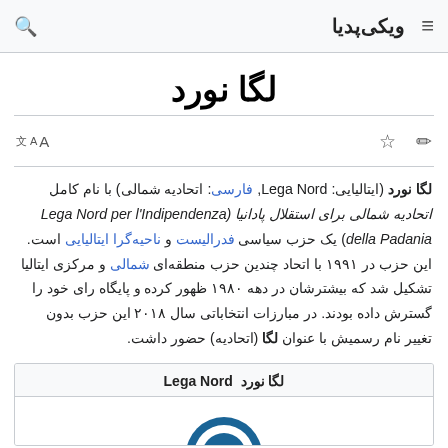ویکی‌پدیا
لگا نورد
لگا نورد (ایتالیایی: Lega Nord, فارسی: اتحادیه شمالی) با نام کامل اتحادیه شمالی برای استقلال پادانیا (Lega Nord per l'Indipendenza della Padania) یک حزب سیاسی فدرالیست و ناحیه‌گرا ایتالیایی است. این حزب در ۱۹۹۱ با اتحاد چندین حزب منطقه‌ای شمالی و مرکزی ایتالیا تشکیل شد که بیشترشان در دهه ۱۹۸۰ ظهور کرده و پایگاه رای خود را گسترش داده بودند. در مبارزات انتخاباتی سال ۲۰۱۸ این حزب بدون تغییر نام رسمیش با عنوان لگا (اتحادیه) حضور داشت.
| لگا نورد Lega Nord |
| --- |
| [logo image] |